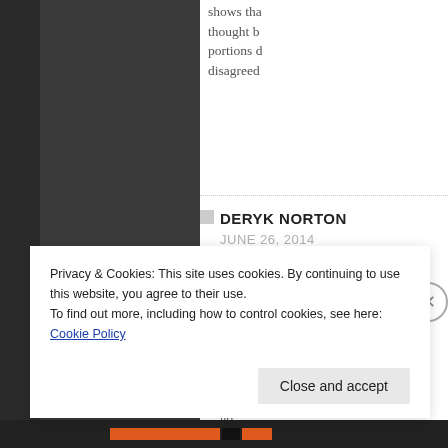shows tha thought b portions d disagreed
DERYK NORTON
JUNE 26, 2014
I watched the ent agenda item in qu
I have watched m various cities but most disgusting d bigotry, faulty rea that I have ever s go me
Privacy & Cookies: This site uses cookies. By continuing to use this website, you agree to their use.
To find out more, including how to control cookies, see here: Cookie Policy
Close and accept